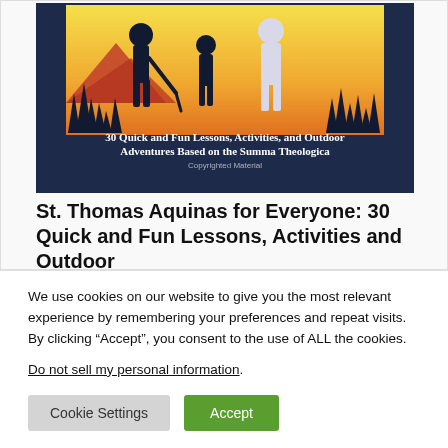[Figure (illustration): Book cover showing silhouettes of children outdoors at sunset. Dark navy background with yellow/orange sky. Text on cover reads '30 Quick and Fun Lessons, Activities, and Outdoor Adventures Based on the Summa Theologica' and 'Copyrighted Material'.]
St. Thomas Aquinas for Everyone: 30 Quick and Fun Lessons, Activities and Outdoor
We use cookies on our website to give you the most relevant experience by remembering your preferences and repeat visits. By clicking “Accept”, you consent to the use of ALL the cookies.
Do not sell my personal information.